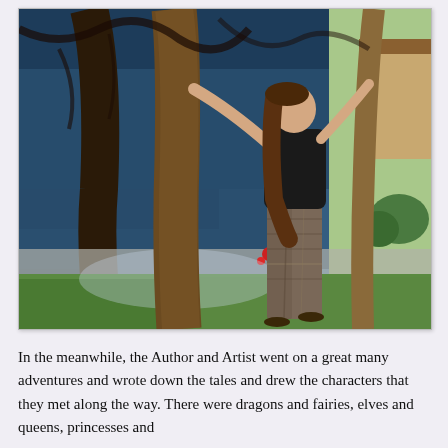[Figure (photo): A woman with long hair wearing a black top and patterned pants stands outdoors between two tree trunks, with one hand raised on the left trunk. Behind her is a large painted mural depicting a dark fantasy forest scene with blue tones and gnarled branches. The ground has grass and gravel. Green plants are visible on the right side.]
In the meanwhile, the Author and Artist went on a great many adventures and wrote down the tales and drew the characters that they met along the way. There were dragons and fairies, elves and queens, princesses and